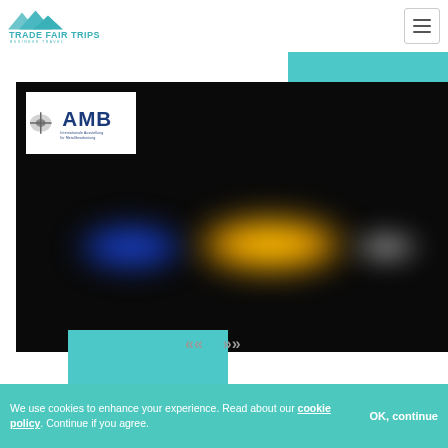Trade Fair Trips - Business Travel
[Figure (photo): Dark background image showing blurred blue and yellow colored objects, likely metalworking tools or machinery in motion. AMB Internationale Ausstellung für Metallbearbeitung logo overlaid in top left corner.]
[Figure (logo): AMB logo - Internationale Ausstellung für Metallbearbeitung, white background with blue AMB text and metallic tools graphic]
« »
We use cookies to enhance your experience. Read about our cookie policy. Continue if you agree. OK, continue